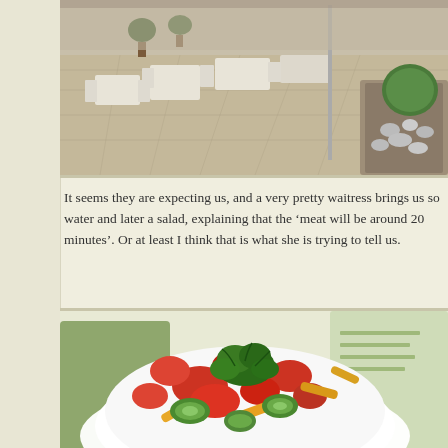[Figure (photo): Outdoor restaurant terrace with white tables and chairs on stone paving, with potted trees and a decorative planter with rocks and round hedges]
It seems they are expecting us, and a very pretty waitress brings us some water and later a salad, explaining that the 'meat will be around 20 minutes'. Or at least I think that is what she is trying to tell us.
[Figure (photo): Close-up of a white bowl filled with a fresh vegetable salad including diced tomatoes, cucumber slices, yellow bell pepper strips, and garnished with fresh parsley leaves]